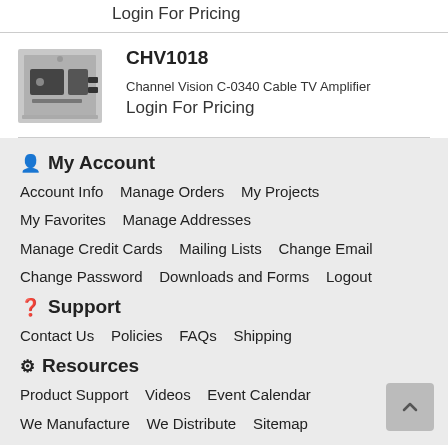Login For Pricing
CHV1018
[Figure (photo): Photo of Channel Vision C-0340 Cable TV Amplifier device]
Channel Vision C-0340 Cable TV Amplifier
Login For Pricing
My Account
Account Info
Manage Orders
My Projects
My Favorites
Manage Addresses
Manage Credit Cards
Mailing Lists
Change Email
Change Password
Downloads and Forms
Logout
Support
Contact Us
Policies
FAQs
Shipping
Resources
Product Support
Videos
Event Calendar
We Manufacture
We Distribute
Sitemap